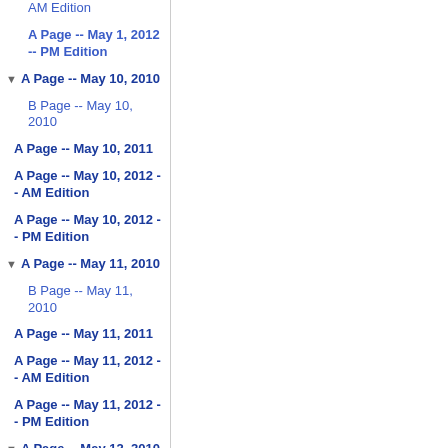AM Edition
A Page -- May 1, 2012 -- PM Edition
▼ A Page -- May 10, 2010
B Page -- May 10, 2010
A Page -- May 10, 2011
A Page -- May 10, 2012 -- AM Edition
A Page -- May 10, 2012 -- PM Edition
▼ A Page -- May 11, 2010
B Page -- May 11, 2010
A Page -- May 11, 2011
A Page -- May 11, 2012 -- AM Edition
A Page -- May 11, 2012 -- PM Edition
▼ A Page -- May 12, 2010
B Page -- May 12, 2010
A Page -- May 12, 2011
A Page -- May 12, 2012 --